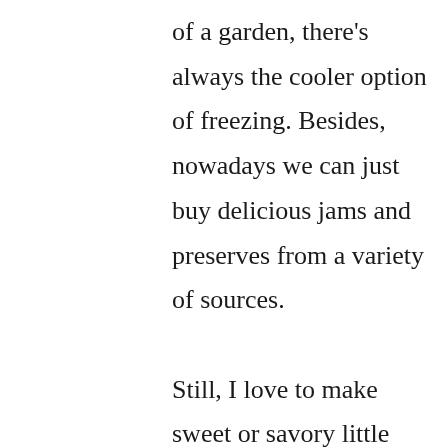of a garden, there's always the cooler option of freezing. Besides, nowadays we can just buy delicious jams and preserves from a variety of sources.

Still, I love to make sweet or savory little pots of preserves, pickles and liquors from fresh fruit and vegetables. It goes back to memories of my late oba-chan, my grandmother, making pickled